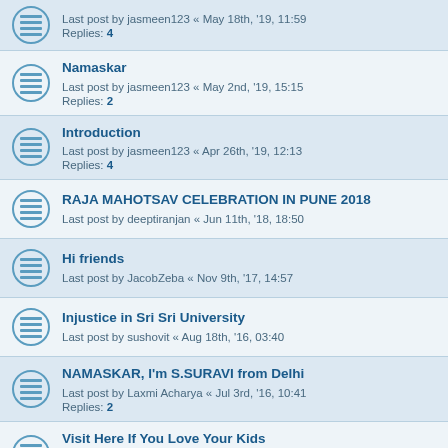Last post by jasmeen123 « May 18th, '19, 11:59
Replies: 4
Namaskar
Last post by jasmeen123 « May 2nd, '19, 15:15
Replies: 2
Introduction
Last post by jasmeen123 « Apr 26th, '19, 12:13
Replies: 4
RAJA MAHOTSAV CELEBRATION IN PUNE 2018
Last post by deeptiranjan « Jun 11th, '18, 18:50
Hi friends
Last post by JacobZeba « Nov 9th, '17, 14:57
Injustice in Sri Sri University
Last post by sushovit « Aug 18th, '16, 03:40
NAMASKAR, I'm S.SURAVI from Delhi
Last post by Laxmi Acharya « Jul 3rd, '16, 10:41
Replies: 2
Visit Here If You Love Your Kids
Last post by odishahandicrafts « Jan 2nd, '16, 13:42
Replies: 1
The Unspoken Truth Behind #Sarathigate – A Conspiracy
Last post by odishahandicrafts « Dec 15th, '15, 16:25
Replies: 3
hello
Last post by acharyaswarup « Jul 14th, '15, 09:48
Job search and Consulting in Bhubaneswar